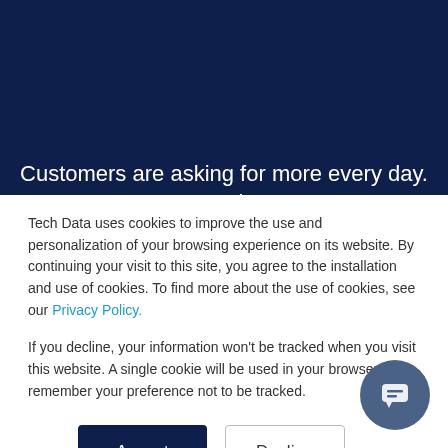[Figure (screenshot): Dark navy blue banner background, top portion of webpage]
Customers are asking for more every day. And we're here to listen.
Tech Data uses cookies to improve the use and personalization of your browsing experience on its website. By continuing your visit to this site, you agree to the installation and use of cookies. To find more about the use of cookies, see our Privacy Policy.
If you decline, your information won't be tracked when you visit this website. A single cookie will be used in your browser to remember your preference not to be tracked.
Accept   Decline
[Figure (illustration): Round chat/support bubble icon in bottom right corner]